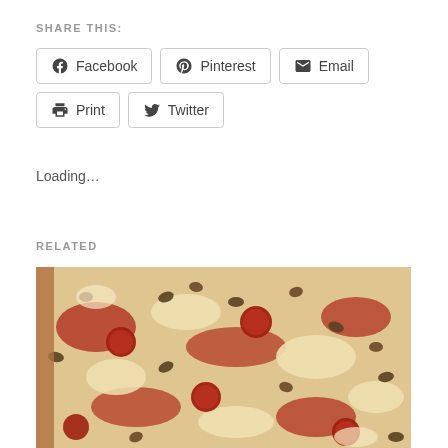SHARE THIS:
Facebook | Pinterest | Email | Print | Twitter
Loading...
RELATED
[Figure (photo): Close-up photo of pizza with pepperoni, sausage crumbles, and melted cheese]